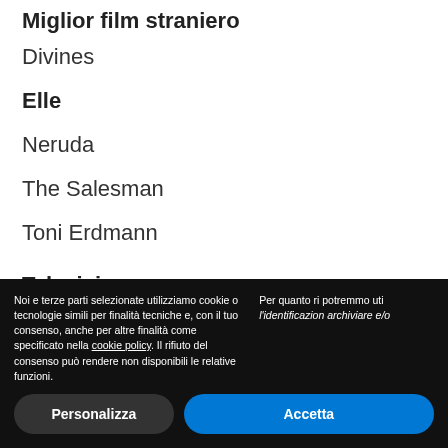Miglior film straniero
Divines
Elle
Neruda
The Salesman
Toni Erdmann
Televisione
Noi e terze parti selezionate utilizziamo cookie o tecnologie simili per finalità tecniche e, con il tuo consenso, anche per altre finalità come specificato nella cookie policy. Il rifiuto del consenso può rendere non disponibili le relative funzioni.
Per quanto ri potremmo uti l'identificazion archiviare e/o
Personalizza
Accetta